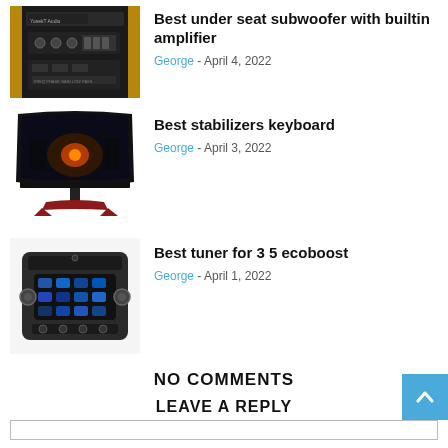Best under seat subwoofer with builtin amplifier
George - April 4, 2022
[Figure (photo): Rear panel of a wooden bookshelf speaker/subwoofer with amplifier inputs]
Best stabilizers keyboard
George - April 3, 2022
[Figure (photo): Curved gaming monitor on a red stand displaying a glowing sci-fi game scene]
Best tuner for 3 5 ecoboost
George - April 1, 2022
[Figure (photo): Car aftermarket touchscreen head unit / tuner device with multiple buttons]
NO COMMENTS
LEAVE A REPLY